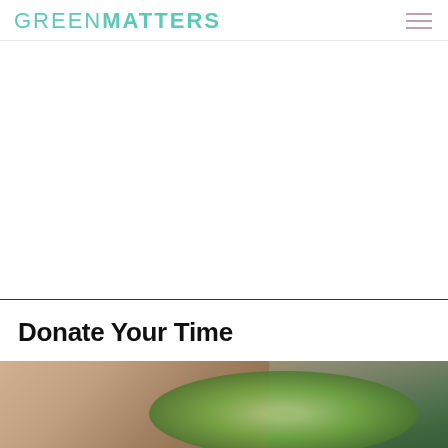GREENMATTERS
[Figure (other): Advertisement area (blank white space)]
Donate Your Time
[Figure (photo): Close-up photo of a person's hand holding or touching a small furry animal (likely a chipmunk or small rodent) against a blurred green background]